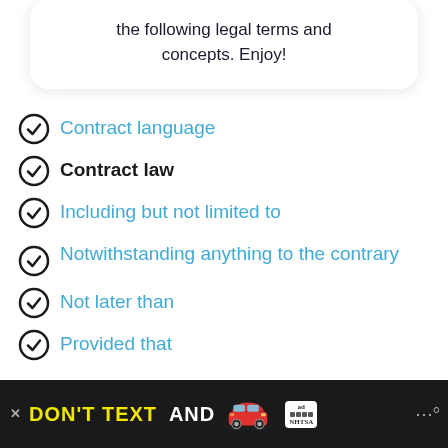the following legal terms and concepts. Enjoy!
Contract language
Contract law
Including but not limited to
Notwithstanding anything to the contrary
Not later than
Provided that
[Figure (infographic): Advertisement banner: DON'T TEXT AND [car emoji] ad badge, NHTSA logo]